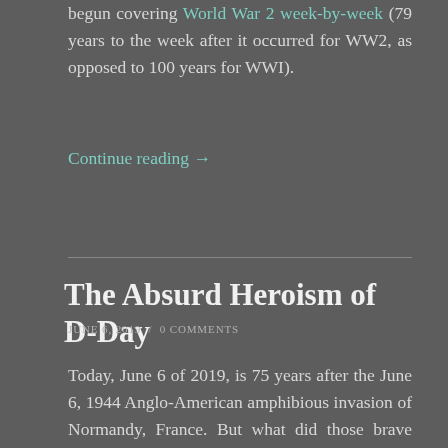begun covering World War 2 week-by-week (79 years to the week after it occurred for WW2, as opposed to 100 years for WWI).
Continue reading →
The Absurd Heroism of D-Day
JUNE 6, 2019 / 0 COMMENTS
Today, June 6 of 2019, is 75 years after the June 6, 1944 Anglo-American amphibious invasion of Normandy, France. But what did those brave men fight and die for?